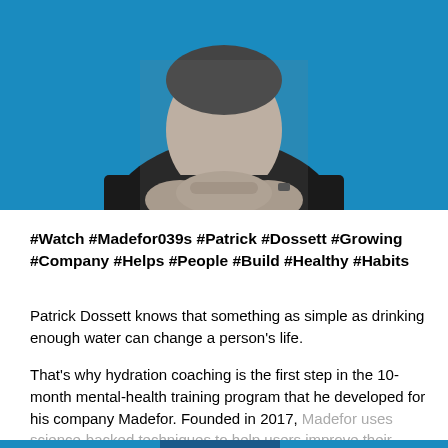[Figure (photo): Black and white photo of Patrick Dossett, a man in a black t-shirt with hands clasped, on a blue background]
#Watch #Madefor039s #Patrick #Dossett #Growing #Company #Helps #People #Build #Healthy #Habits
Patrick Dossett knows that something as simple as drinking enough water can change a person's life.
That's why hydration coaching is the first step in the 10-month mental-health training program that he developed for his company Madefor. Founded in 2017, Madefor uses science-backed techniques to help users improve their physical and mental well-being.